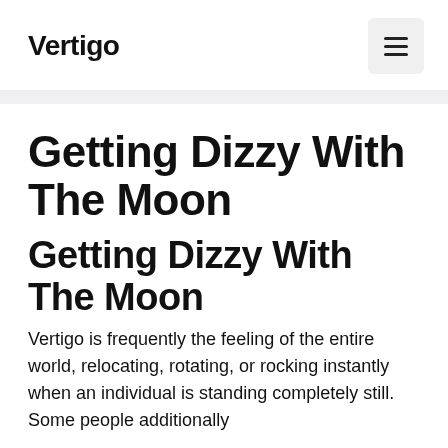Vertigo
Getting Dizzy With The Moon
Getting Dizzy With The Moon
Vertigo is frequently the feeling of the entire world, relocating, rotating, or rocking instantly when an individual is standing completely still. Some people additionally